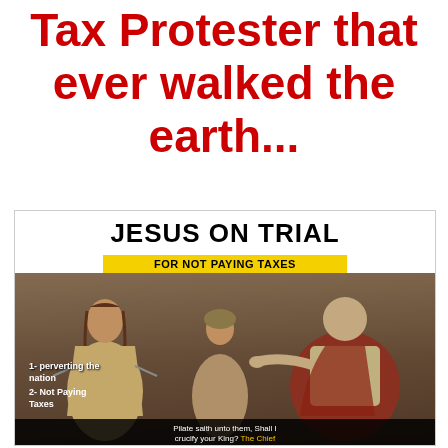Tax Protester that ever walked the earth...
[Figure (illustration): Meme image showing men in ancient/biblical costume with title 'JESUS ON TRIAL FOR NOT PAYING TAXES'. Yellow banner reads 'FOR NOT PAYING TAXES'. Text overlay on left reads '1- perverting the nation 2- Not Paying Taxes'. Bottom text reads 'Pilate saith unto them, Shall I crucify your King? The Chief...' with yellow colored text.]